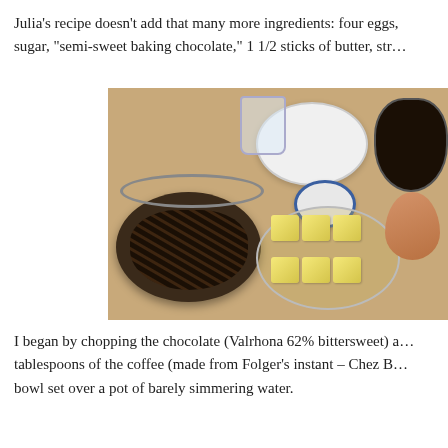Julia's recipe doesn't add that many more ingredients: four eggs, sugar, "semi-sweet baking chocolate," 1 1/2 sticks of butter, str…
[Figure (photo): Photo of baking ingredients laid out on a wooden surface: a large bowl of chopped dark chocolate, a bowl of white sugar, a small blue bowl of salt, cubed butter in a glass bowl, a small glass, a dark liquid (coffee), and an egg.]
I began by chopping the chocolate (Valrhona 62% bittersweet) a… tablespoons of the coffee (made from Folger's instant – Chez B… bowl set over a pot of barely simmering water.